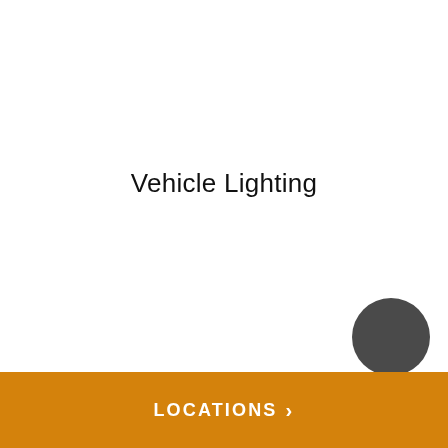Vehicle Lighting
[Figure (other): Dark gray circle/button element positioned at lower right of white content area]
LOCATIONS >